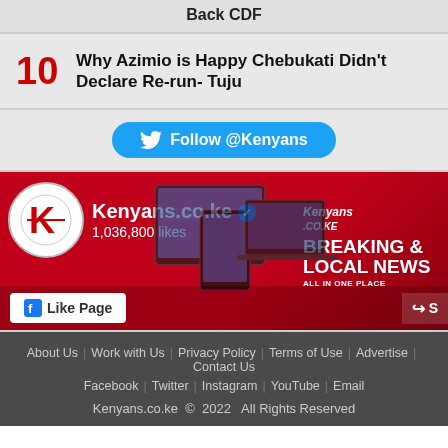Back CDF
10  Why Azimio is Happy Chebukati Didn't Declare Re-run- Tuju
[Figure (screenshot): Twitter Follow @Kenyans button]
[Figure (screenshot): Kenyans.co.ke Facebook page widget showing 1,036,800 likes, Like Page button, Breaking & Local News banner]
About Us | Work with Us | Privacy Policy | Terms of Use | Advertise | Contact Us | Facebook | Twitter | Instagram | YouTube | Email | Kenyans.co.ke © 2022 All Rights Reserved